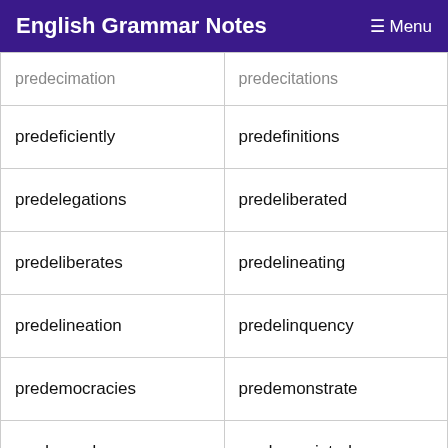English Grammar Notes   ≡ Menu
| predecimation | predecitations |
| predeficiently | predefinitions |
| predelegations | predeliberated |
| predeliberates | predelineating |
| predelineation | predelinquency |
| predemocracies | predemonstrate |
| predependences | predepreciated |
| predepreciates | predepressions |
| predeprivation | prederivations |
| predescription | predesignating |